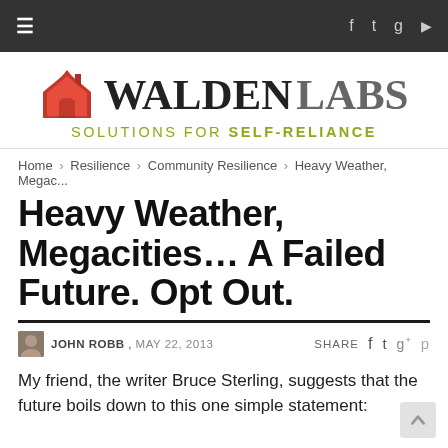≡  f  Twitter  Instagram  ▶
[Figure (logo): Walden Labs logo: red house icon with WALDEN LABS text in bold serif and tagline SOLUTIONS FOR SELF-RELIANCE in olive green]
Home › Resilience › Community Resilience › Heavy Weather, Megac...
Heavy Weather, Megacities… A Failed Future. Opt Out.
JOHN ROBB , MAY 22, 2013   SHARE f Twitter g+ Pinterest
My friend, the writer Bruce Sterling, suggests that the future boils down to this one simple statement: